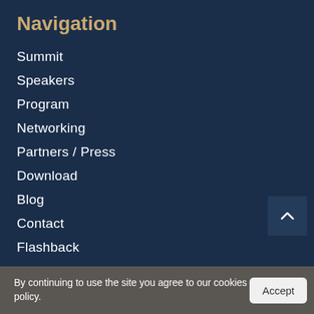Navigation
Summit
Speakers
Program
Networking
Partners / Press
Download
Blog
Contact
Flashback
Awards
Terms and Conditions
By continuing to use the site you agree to our cookies policy.